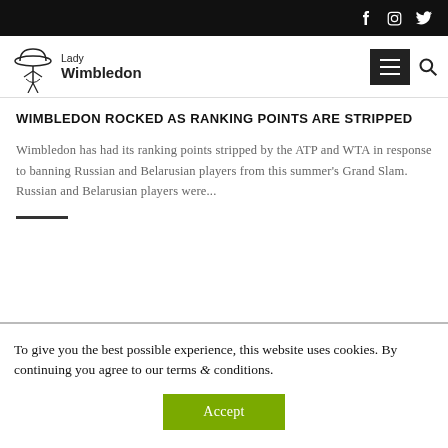Lady Wimbledon — social icons: Facebook, Instagram, Twitter
WIMBLEDON ROCKED AS RANKING POINTS ARE STRIPPED
Wimbledon has had its ranking points stripped by the ATP and WTA in response to banning Russian and Belarusian players from this summer's Grand Slam. Russian and Belarusian players were...
To give you the best possible experience, this website uses cookies. By continuing you agree to our terms & conditions.